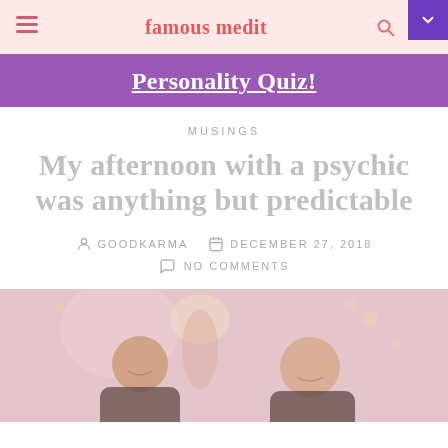famous medit
Personality Quiz!
MUSINGS
My afternoon with a psychic was anything but predictable
GOODKARMA  DECEMBER 27, 2018  NO COMMENTS
[Figure (photo): Two women sitting together, smiling in warm indoor lighting]